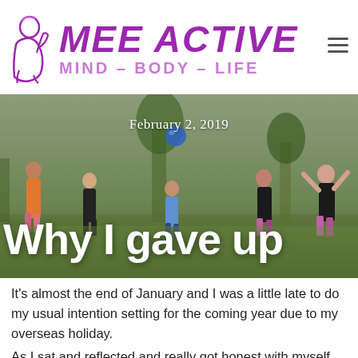[Figure (logo): Mee Active logo with purple stylized woman figure, large italic text MEE ACTIVE in purple, subtitle MIND – BODY – LIFE in lighter purple, and hamburger menu icon top right]
[Figure (photo): Outdoor photo of a group of women exercising in a park, tossing a blue ball. Date overlay: February 2, 2019. Large white title text: Why I gave up]
It's almost the end of January and I was a little late to do my usual intention setting for the coming year due to my overseas holiday.
As I sat and reflected and really got honest with myself all of